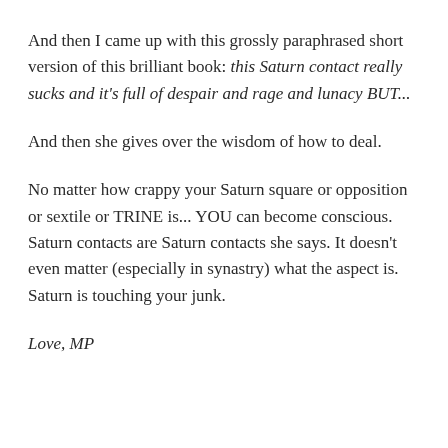And then I came up with this grossly paraphrased short version of this brilliant book: this Saturn contact really sucks and it's full of despair and rage and lunacy BUT...
And then she gives over the wisdom of how to deal.
No matter how crappy your Saturn square or opposition or sextile or TRINE is... YOU can become conscious. Saturn contacts are Saturn contacts she says. It doesn't even matter (especially in synastry) what the aspect is. Saturn is touching your junk.
Love, MP